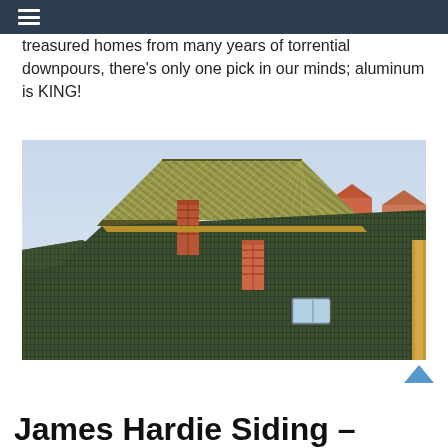≡
treasured homes from many years of torrential downpours, there's only one pick in our minds; aluminum is KING!
[Figure (photo): Aerial view of a house with green metal roofing, including a corrugated metal ridge roof and dark tiled slopes, with two brick chimneys and a skylight visible, set against a pale sky with suburban landscape in the background.]
James Hardie Siding –